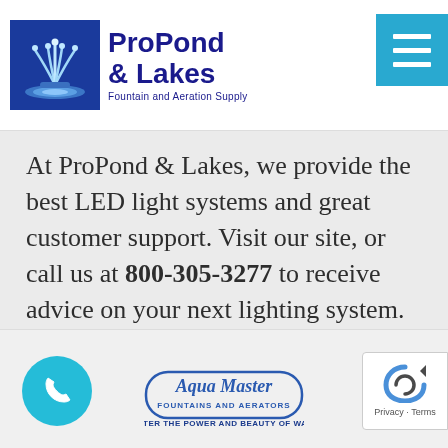[Figure (logo): ProPond & Lakes logo with fountain icon and text 'ProPond & Lakes - Fountain and Aeration Supply']
[Figure (other): Hamburger menu icon button in cyan/blue]
At ProPond & Lakes, we provide the best LED light systems and great customer support. Visit our site, or call us at 800-305-3277 to receive advice on your next lighting system.
[Figure (other): HAVE A QUESTION? button in blue]
[Figure (logo): Phone icon in cyan circle]
[Figure (logo): Aqua Master Fountains and Aerators logo with tagline MASTER THE POWER AND BEAUTY OF WATER]
[Figure (other): reCAPTCHA Privacy Terms badge]